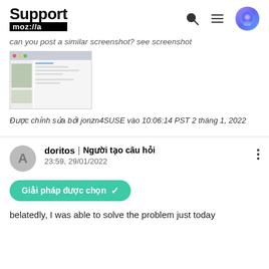Support mozilla
can you post a similar screenshot? see screenshot
[Figure (screenshot): A browser window screenshot showing a webpage with sidebar and image content]
Được chỉnh sửa bởi jonzn4SUSE vào 10:06:14 PST 2 tháng 1, 2022
doritos | Người tạo câu hỏi
23:59, 29/01/2022
Giải pháp được chọn ✓
belatedly, I was able to solve the problem just today